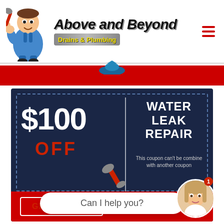[Figure (logo): Above and Beyond Drains & Plumbing logo with cartoon plumber mascot holding a wrench]
[Figure (infographic): Coupon offering $100 OFF Water Leak Repair on dark navy background with dashed border. Red bottom bar with GET COUPON button. Fine print: This coupon can't be combine with another coupon.]
Can I help you?